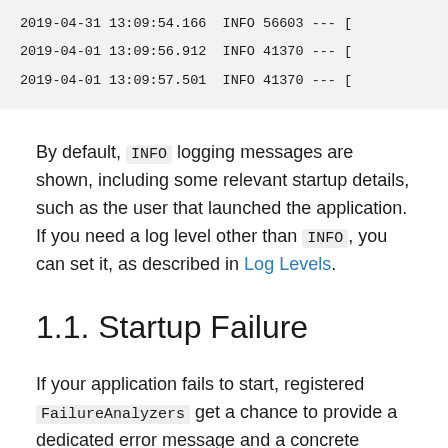2019-04-31 13:09:54.166  INFO 56603 --- [
2019-04-01 13:09:56.912  INFO 41370 --- [
2019-04-01 13:09:57.501  INFO 41370 --- [
By default, INFO logging messages are shown, including some relevant startup details, such as the user that launched the application. If you need a log level other than INFO, you can set it, as described in Log Levels.
1.1. Startup Failure
If your application fails to start, registered FailureAnalyzers get a chance to provide a dedicated error message and a concrete action to fix the problem. For instance, if you start a web application on port 8080 and that port is already in use, you should see something similar to the following message: